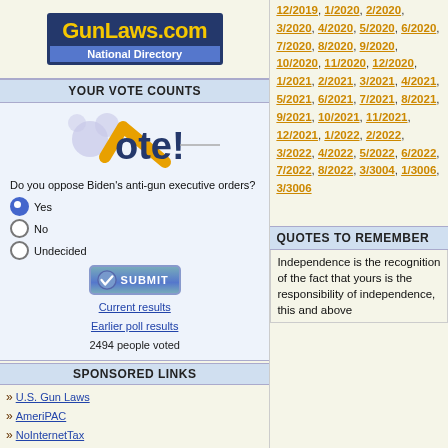[Figure (logo): GunLaws.com National Directory logo with yellow text on dark blue background]
YOUR VOTE COUNTS
[Figure (illustration): Vote! image with checkmark and bubbles]
Do you oppose Biden's anti-gun executive orders?
Yes (selected)
No
Undecided
[Figure (illustration): SUBMIT button with checkmark icon]
Current results
Earlier poll results
2494 people voted
SPONSORED LINKS
U.S. Gun Laws
AmeriPAC
NoInternetTax
Gun Show On The Net
2nd Amendment Show
SEMPER Firearms
Colt Collectors Assoc.
Personal Defense Solutions
12/2019, 1/2020, 2/2020, 3/2020, 4/2020, 5/2020, 6/2020, 7/2020, 8/2020, 9/2020, 10/2020, 11/2020, 12/2020, 1/2021, 2/2021, 3/2021, 4/2021, 5/2021, 6/2021, 7/2021, 8/2021, 9/2021, 10/2021, 11/2021, 12/2021, 1/2022, 2/2022, 3/2022, 4/2022, 5/2022, 6/2022, 7/2022, 8/2022, 3/3004, 1/3006, 3/3006
QUOTES TO REMEMBER
Independence is the recognition of the fact that yours is the responsibility of independence, this and above